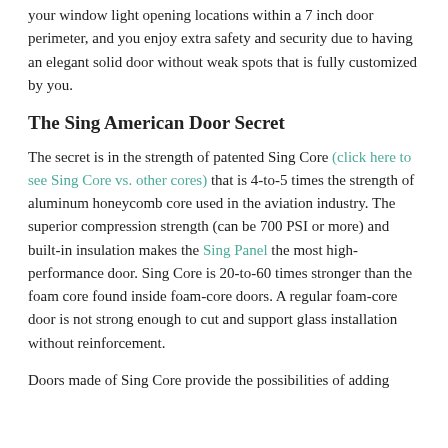your window light opening locations within a 7 inch door perimeter, and you enjoy extra safety and security due to having an elegant solid door without weak spots that is fully customized by you.
The Sing American Door Secret
The secret is in the strength of patented Sing Core (click here to see Sing Core vs. other cores) that is 4-to-5 times the strength of aluminum honeycomb core used in the aviation industry. The superior compression strength (can be 700 PSI or more) and built-in insulation makes the Sing Panel the most high-performance door. Sing Core is 20-to-60 times stronger than the foam core found inside foam-core doors. A regular foam-core door is not strong enough to cut and support glass installation without reinforcement.
Doors made of Sing Core provide the possibilities of adding